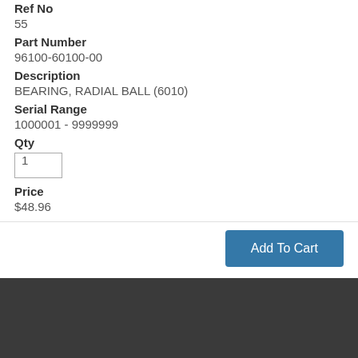Ref No
55
Part Number
96100-60100-00
Description
BEARING, RADIAL BALL (6010)
Serial Range
1000001 - 9999999
Qty
1
Price
$48.96
Add To Cart
How to Find Us